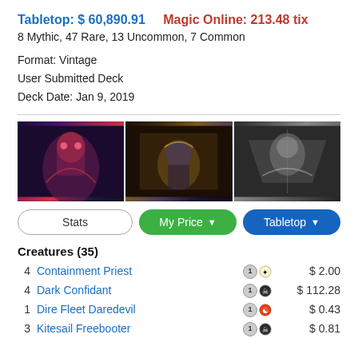Tabletop: $ 60,890.91    Magic Online: 213.48 tix
8 Mythic, 47 Rare, 13 Uncommon, 7 Common
Format: Vintage
User Submitted Deck
Deck Date: Jan 9, 2019
[Figure (photo): Three Magic: The Gathering card artwork images side by side]
Stats  |  My Price ▼  |  Tabletop ▼
Creatures (35)
4  Containment Priest  $ 2.00
4  Dark Confidant  $ 112.28
1  Dire Fleet Daredevil  $ 0.43
3  Kitesail Freebooter  $ 0.81